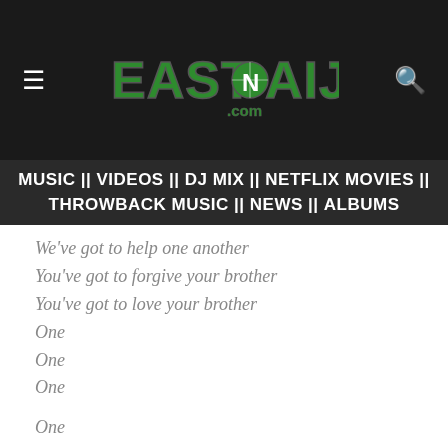EastNaija.com
MUSIC || VIDEOS || DJ MIX || NETFLIX MOVIES || THROWBACK MUSIC || NEWS || ALBUMS
We've got to help one another
You've got to forgive your brother
You've got to love your brother
One
One
One
One
One
One
One
One
One